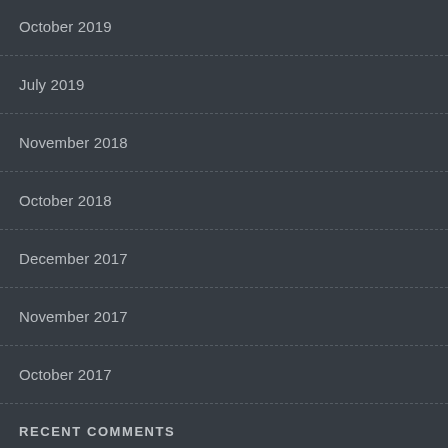October 2019
July 2019
November 2018
October 2018
December 2017
November 2017
October 2017
RECENT COMMENTS